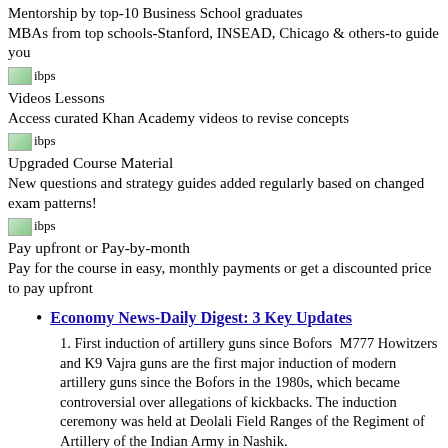Mentorship by top-10 Business School graduates MBAs from top schools-Stanford, INSEAD, Chicago & others-to guide you
[Figure (illustration): Small image placeholder labeled ibps]
Videos Lessons
Access curated Khan Academy videos to revise concepts
[Figure (illustration): Small image placeholder labeled ibps]
Upgraded Course Material
New questions and strategy guides added regularly based on changed exam patterns!
[Figure (illustration): Small image placeholder labeled ibps]
Pay upfront or Pay-by-month
Pay for the course in easy, monthly payments or get a discounted price to pay upfront
Economy News-Daily Digest: 3 Key Updates
1. First induction of artillery guns since Bofors  M777 Howitzers and K9 Vajra guns are the first major induction of modern artillery guns since the Bofors in the 1980s, which became controversial over allegations of kickbacks. The induction ceremony was held at Deolali Field Ranges of the Regiment of Artillery of the Indian Army in Nashik.
Learn More